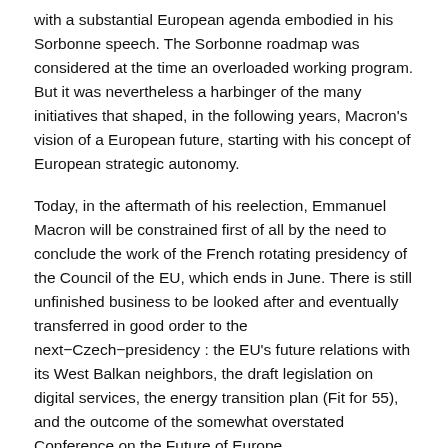with a substantial European agenda embodied in his Sorbonne speech. The Sorbonne roadmap was considered at the time an overloaded working program. But it was nevertheless a harbinger of the many initiatives that shaped, in the following years, Macron's vision of a European future, starting with his concept of European strategic autonomy.
Today, in the aftermath of his reelection, Emmanuel Macron will be constrained first of all by the need to conclude the work of the French rotating presidency of the Council of the EU, which ends in June. There is still unfinished business to be looked after and eventually transferred in good order to the next—Czech—presidency : the EU's future relations with its West Balkan neighbors, the draft legislation on digital services, the energy transition plan (Fit for 55), and the outcome of the somewhat overstated Conference on the Future of Europe.
La question ukrainienne
On top of these time-consuming files, the management of the ongoing crisis resulting from Russia's invasion in Ukraine will require special attention, as the unity of purpose and speed of action demonstrated by the European nations in the first months